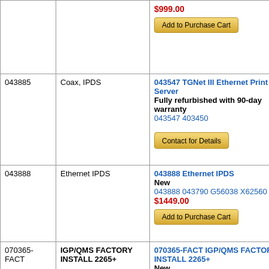| SKU | Description | Details |
| --- | --- | --- |
|  |  | $999.00
Add to Purchase Cart |
| 043885 | Coax, IPDS | 043547 TGNet III Ethernet Print Server
Fully refurbished with 90-day warranty
043547 403450
Contact for Details |
| 043888 | Ethernet IPDS | 043888 Ethernet IPDS
New
043888 043790 G56038 X62560 (New)
$1449.00
Add to Purchase Cart |
| 070365-FACT | IGP/QMS FACTORY INSTALL 2265+ | 070365-FACT IGP/QMS FACTORY INSTALL 2265+
New
070365-FACT (New)
Retired, no longer available: Contact for alternatives
Contact for Details |
|  |  | 070365 IGP/QMS Field Replaceable... |